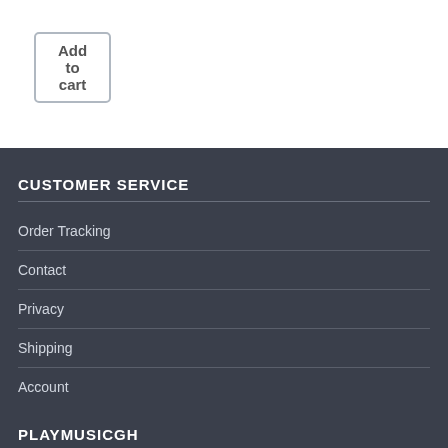Add to cart
CUSTOMER SERVICE
Order Tracking
Contact
Privacy
Shipping
Account
PLAYMUSICGH